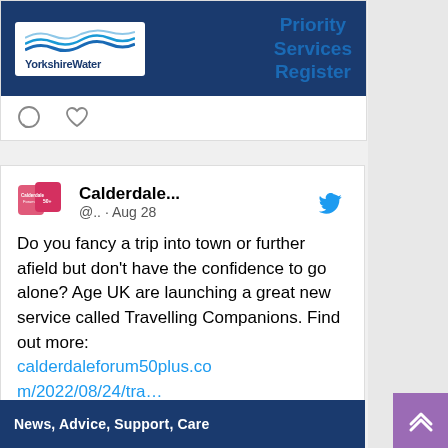[Figure (screenshot): Yorkshire Water Priority Services Register logo/banner — dark blue background with Yorkshire Water logo on white background left side, and blue bold text 'Priority Services Register' on right]
[Figure (screenshot): Calderdale Forum 50+ tweet from Aug 28 about Age UK Travelling Companions service, with Twitter bird icon, forum logo, tweet text, and blue links]
[Figure (screenshot): Bottom image strip with dark blue background and white text: News, Advice, Support, Care]